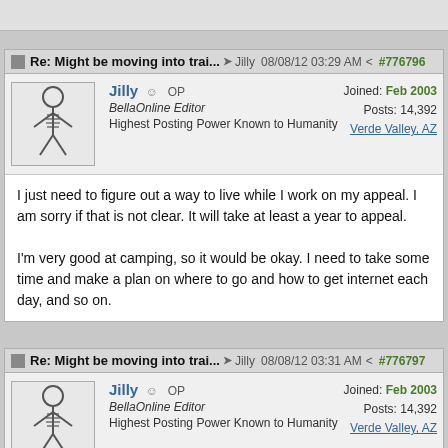Re: Might be moving into trai... → Jilly  08/08/12 03:29 AM  #776796
Jilly  ☺ OP  BellaOnline Editor  Highest Posting Power Known to Humanity  Joined: Feb 2003  Posts: 14,392  Verde Valley, AZ
I just need to figure out a way to live while I work on my appeal. I am sorry if that is not clear. It will take at least a year to appeal.

I'm very good at camping, so it would be okay. I need to take some time and make a plan on where to go and how to get internet each day, and so on.
Re: Might be moving into trai... → Jilly  08/08/12 03:31 AM  #776797
Jilly  ☺ OP  BellaOnline Editor  Highest Posting Power Known to Humanity  Joined: Feb 2003  Posts: 14,392  Verde Valley, AZ
There's also always the Slabs for winter. Been wanting to check that out. And the Long Term parking areas in AZ and CA.